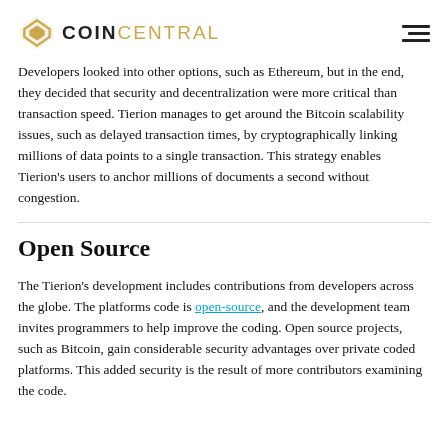COINCENTRAL
Developers looked into other options, such as Ethereum, but in the end, they decided that security and decentralization were more critical than transaction speed. Tierion manages to get around the Bitcoin scalability issues, such as delayed transaction times, by cryptographically linking millions of data points to a single transaction. This strategy enables Tierion's users to anchor millions of documents a second without congestion.
Open Source
The Tierion's development includes contributions from developers across the globe. The platforms code is open-source, and the development team invites programmers to help improve the coding. Open source projects, such as Bitcoin, gain considerable security advantages over private coded platforms. This added security is the result of more contributors examining the code.